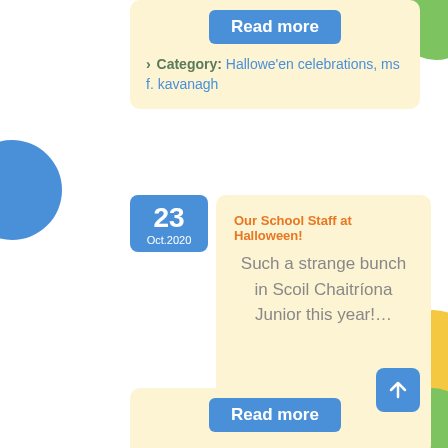Read more
> Category: Hallowe'en celebrations, ms f. kavanagh
23 Oct.2020
Our School Staff at Halloween!
Such a strange bunch in Scoil Chaitríona Junior this year!…
Read more